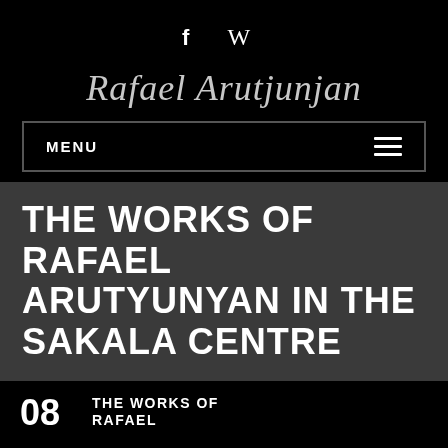f W
Rafael Arutjunjan
MENU
THE WORKS OF RAFAEL ARUTYUNYAN IN THE SAKALA CENTRE
08 THE WORKS OF RAFAEL